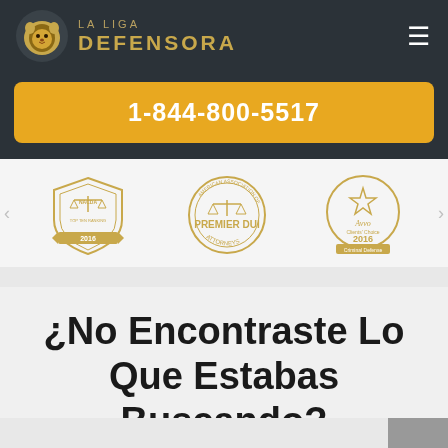LA LIGA DEFENSORA
1-844-800-5517
[Figure (logo): Three award badges: NACDA Top Ten Ranking 2016, American Association Premier DUI Attorneys, Avvo Clients Choice 2016 Criminal Defense]
¿No Encontraste Lo Que Estabas Buscando?